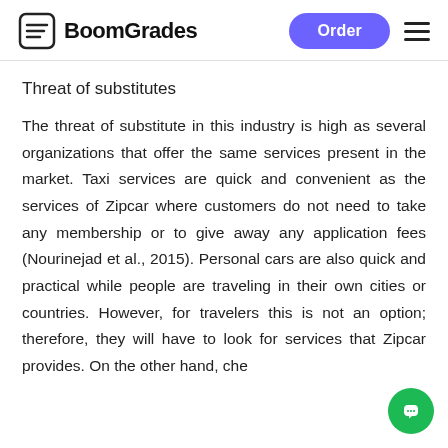BoomGrades
Threat of substitutes
The threat of substitute in this industry is high as several organizations that offer the same services present in the market. Taxi services are quick and convenient as the services of Zipcar where customers do not need to take any membership or to give away any application fees (Nourinejad et al., 2015). Personal cars are also quick and practical while people are traveling in their own cities or countries. However, for travelers this is not an option; therefore, they will have to look for services that Zipcar provides. On the other hand, che